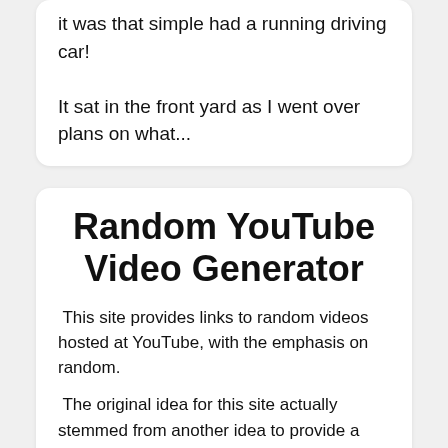it was that simple had a running driving car!

It sat in the front yard as I went over plans on what...
Random YouTube Video Generator
This site provides links to random videos hosted at YouTube, with the emphasis on random.
The original idea for this site actually stemmed from another idea to provide a way of benchmarking the popularity of a video against the general population of YouTube videos. There are probably sites that do this by now, but there wasn't when we started out. Anyway, in order to figure out how popular any one video is, you need a pretty large sample of videos to rank it against. The challenge is that the sample needs to be very random in order to properly rank a video and